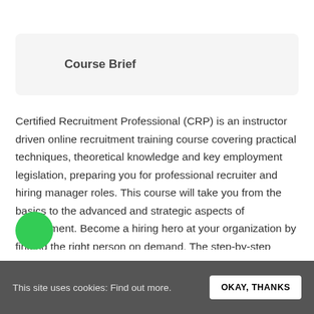Course Brief
Certified Recruitment Professional (CRP) is an instructor driven online recruitment training course covering practical techniques, theoretical knowledge and key employment legislation, preparing you for professional recruiter and hiring manager roles. This course will take you from the basics to the advanced and strategic aspects of Recruitment. Become a hiring hero at your organization by finding the right person on demand. The step-by-step practical modules of this course will hep you learn different aspects of specialized hiring. Our industry expert Instructors will
This site uses cookies: Find out more.   OKAY, THANKS